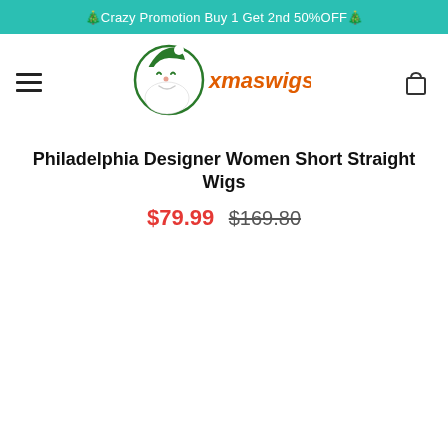🎄Crazy Promotion Buy 1 Get 2nd 50%OFF🎄
[Figure (logo): XmasWigs logo: Santa Claus face with green hat and beard, beside orange/red stylized text 'xmaswigs']
Philadelphia Designer Women Short Straight Wigs
$79.99  $169.80